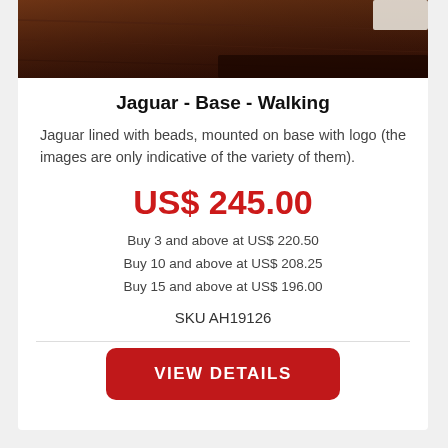[Figure (photo): Partial view of a dark wood jaguar figurine on a base, cropped at top]
Jaguar - Base - Walking
Jaguar lined with beads, mounted on base with logo (the images are only indicative of the variety of them).
US$ 245.00
Buy 3 and above at US$ 220.50
Buy 10 and above at US$ 208.25
Buy 15 and above at US$ 196.00
SKU AH19126
VIEW DETAILS